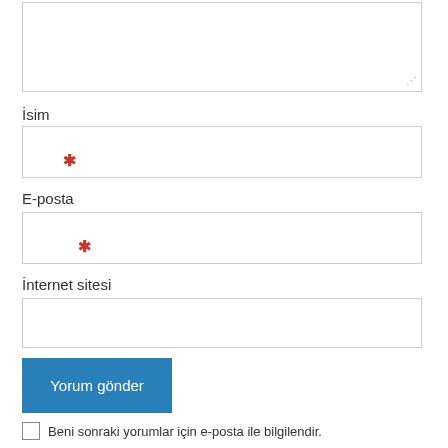[Figure (screenshot): Textarea input field (comment box) at the top of the form]
İsim
[Figure (screenshot): Input field for İsim (Name) with red asterisk required marker]
E-posta
[Figure (screenshot): Input field for E-posta (Email) with red asterisk required marker]
İnternet sitesi
[Figure (screenshot): Input field for İnternet sitesi (Website)]
[Figure (screenshot): Yorum gönder (Submit comment) blue button]
Beni sonraki yorumlar için e-posta ile bilgilendir.
Beni yeni yazılarda e-posta ile bilgilendir.